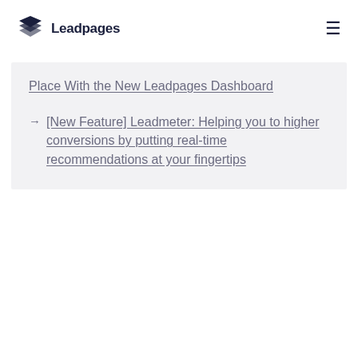[Figure (logo): Leadpages logo with stacked layers icon and text 'Leadpages']
Place With the New Leadpages Dashboard
→ [New Feature] Leadmeter: Helping you to higher conversions by putting real-time recommendations at your fingertips